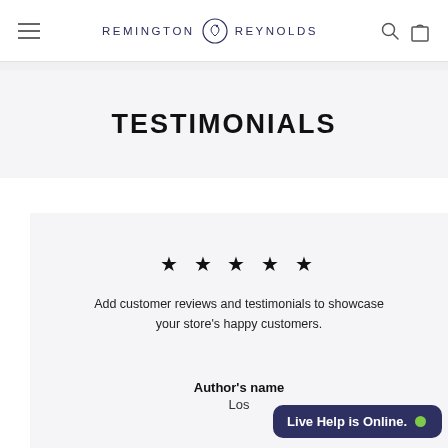REMINGTON REYNOLDS
TESTIMONIALS
★ ★ ★ ★ ★
Add customer reviews and testimonials to showcase your store's happy customers.
Author's name
Los
Live Help is Online.